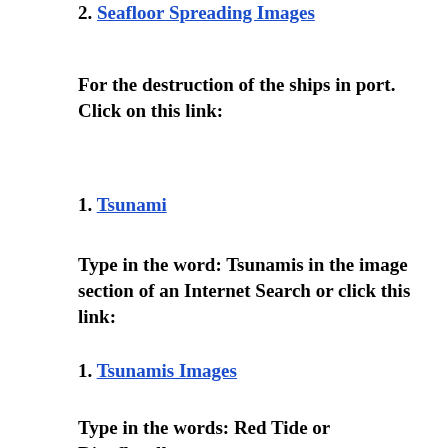2. Seafloor Spreading Images
For the destruction of the ships in port. Click on this link:
1. Tsunami
Type in the word: Tsunamis in the image section of an Internet Search or click this link:
1. Tsunamis Images
Type in the words: Red Tide or  Dinoflagellates in the Web section of an Internet Search or click on the following  five links: